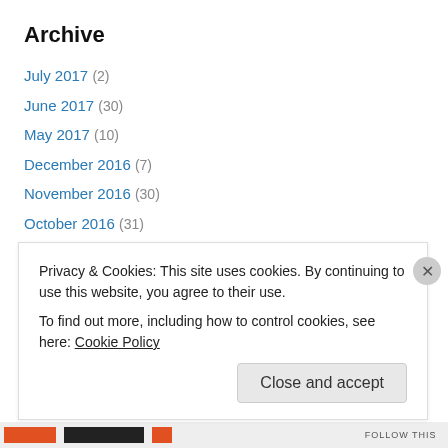Archive
July 2017 (2)
June 2017 (30)
May 2017 (10)
December 2016 (7)
November 2016 (30)
October 2016 (31)
September 2016 (30)
August 2016 (31)
July 2016 (31)
June 2016 (30)
May 2016 (31)
Privacy & Cookies: This site uses cookies. By continuing to use this website, you agree to their use. To find out more, including how to control cookies, see here: Cookie Policy
Close and accept